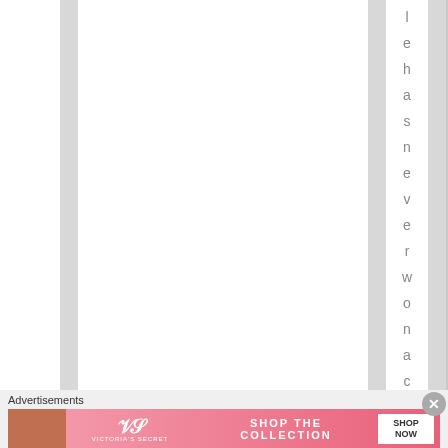[Figure (other): Multi-column page layout with vertical text reading 'l e h a s n e v e r w o n a c o u n' displayed character by character down a white column, surrounded by alternating white and gray columns on a gray background.]
Advertisements
[Figure (photo): Victoria's Secret advertisement banner showing a model with curly hair on the left, Victoria's Secret logo in the center, text 'SHOP THE COLLECTION' and a white button 'SHOP NOW' on the right, pink gradient background.]